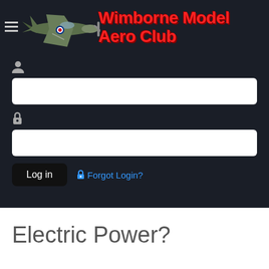[Figure (logo): Wimborne Model Aero Club header with spitfire plane illustration and red bold title text]
[Figure (screenshot): Login form with username field (user icon), password field (lock icon), Log in button, and Forgot Login? link]
Electric Power?